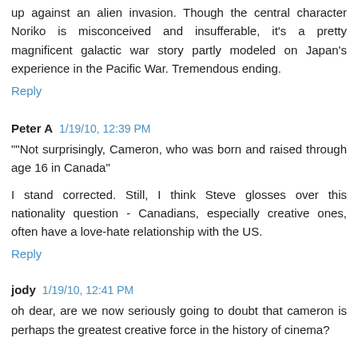up against an alien invasion. Though the central character Noriko is misconceived and insufferable, it's a pretty magnificent galactic war story partly modeled on Japan's experience in the Pacific War. Tremendous ending.
Reply
Peter A  1/19/10, 12:39 PM
""Not surprisingly, Cameron, who was born and raised through age 16 in Canada"
I stand corrected. Still, I think Steve glosses over this nationality question - Canadians, especially creative ones, often have a love-hate relationship with the US.
Reply
jody  1/19/10, 12:41 PM
oh dear, are we now seriously going to doubt that cameron is perhaps the greatest creative force in the history of cinema?